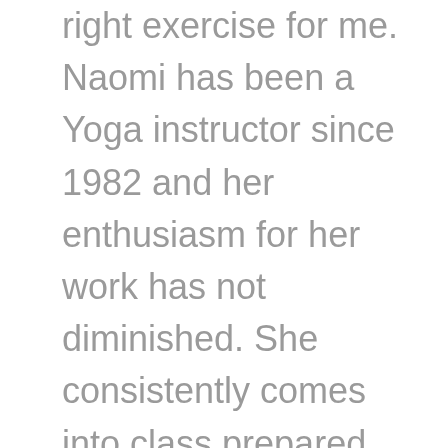right exercise for me. Naomi has been a Yoga instructor since 1982 and her enthusiasm for her work has not diminished. She consistently comes into class prepared…she frequently relays the importance of “outcomes” and that we need to set our goals and monitor our improvements.

…For me, the improvements have been outstanding. Having a serious